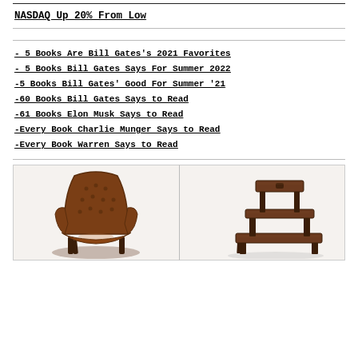NASDAQ Up 20% From Low
- 5 Books Are Bill Gates’s 2021 Favorites
- 5 Books Bill Gates Says For Summer 2022
-5 Books Bill Gates’ Good For Summer ’21
-60 Books Bill Gates Says to Read
-61 Books Elon Musk Says to Read
-Every Book Charlie Munger Says to Read
-Every Book Warren Says to Read
[Figure (photo): Brown tufted leather wingback armchair]
[Figure (photo): Wooden library step stool with three steps]